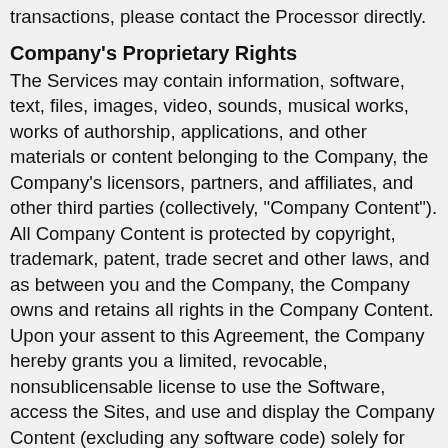transactions, please contact the Processor directly.
Company's Proprietary Rights
The Services may contain information, software, text, files, images, video, sounds, musical works, works of authorship, applications, and other materials or content belonging to the Company, the Company's licensors, partners, and affiliates, and other third parties (collectively, "Company Content"). All Company Content is protected by copyright, trademark, patent, trade secret and other laws, and as between you and the Company, the Company owns and retains all rights in the Company Content. Upon your assent to this Agreement, the Company hereby grants you a limited, revocable, nonsublicensable license to use the Software, access the Sites, and use and display the Company Content (excluding any software code) solely for your personal, non-commercial use in connection with your authorized use of the Software. Except as